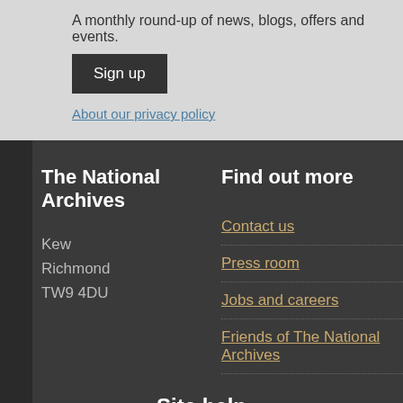A monthly round-up of news, blogs, offers and events.
Sign up
About our privacy policy
The National Archives
Kew
Richmond
TW9 4DU
Find out more
Contact us
Press room
Jobs and careers
Friends of The National Archives
Site help